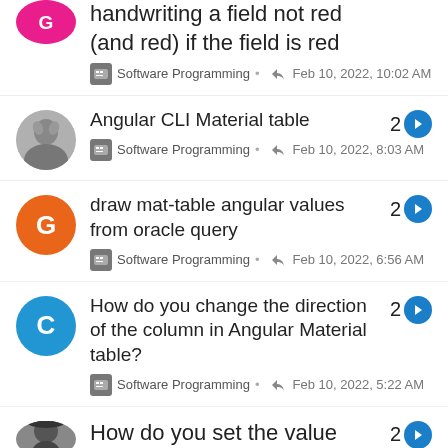handwriting a field not red (and red) if the field is red — Software Programming • Feb 10, 2022, 10:02 AM
Angular CLI Material table — 2 — Software Programming • Feb 10, 2022, 8:03 AM
draw mat-table angular values from oracle query — 2 — Software Programming • Feb 10, 2022, 6:56 AM
How do you change the direction of the column in Angular Material table? — 2 — Software Programming • Feb 10, 2022, 5:22 AM
How do you set the value — 2